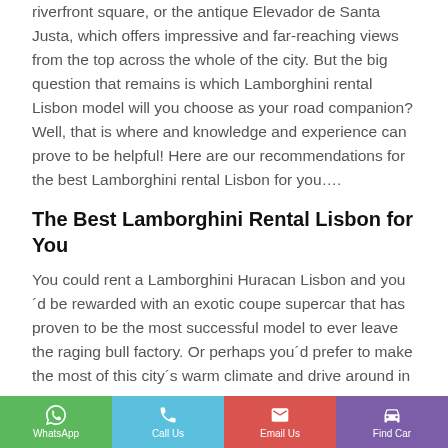riverfront square, or the antique Elevador de Santa Justa, which offers impressive and far-reaching views from the top across the whole of the city. But the big question that remains is which Lamborghini rental Lisbon model will you choose as your road companion? Well, that is where and knowledge and experience can prove to be helpful! Here are our recommendations for the best Lamborghini rental Lisbon for you….
The Best Lamborghini Rental Lisbon for You
You could rent a Lamborghini Huracan Lisbon and you´d be rewarded with an exotic coupe supercar that has proven to be the most successful model to ever leave the raging bull factory. Or perhaps you´d prefer to make the most of this city´s warm climate and drive around in open-
WhatsApp | Call Us | Email Us | Find Car